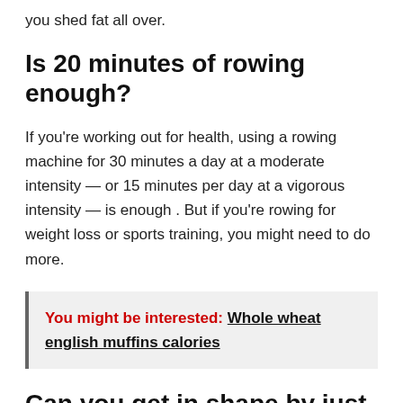you shed fat all over.
Is 20 minutes of rowing enough?
If you're working out for health, using a rowing machine for 30 minutes a day at a moderate intensity — or 15 minutes per day at a vigorous intensity — is enough . But if you're rowing for weight loss or sports training, you might need to do more.
You might be interested: Whole wheat english muffins calories
Can you get in shape by just